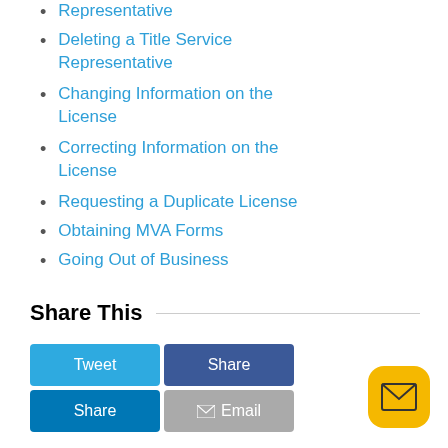Representative
Deleting a Title Service Representative
Changing Information on the License
Correcting Information on the License
Requesting a Duplicate License
Obtaining MVA Forms
Going Out of Business
Share This
[Figure (other): Social sharing buttons: Tweet (blue), Share (dark blue), Share (blue), Email (gray with envelope icon), and a yellow rounded square button with envelope icon]